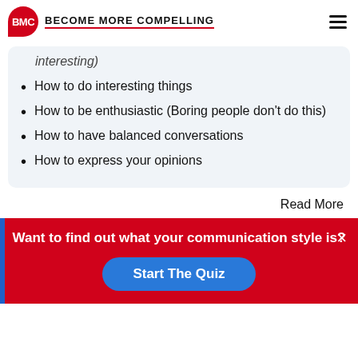BMC BECOME MORE COMPELLING
interesting)
How to do interesting things
How to be enthusiastic (Boring people don't do this)
How to have balanced conversations
How to express your opinions
Read More
Want to find out what your communication style is?
Start The Quiz